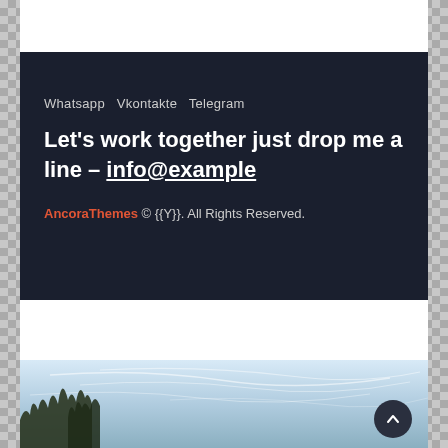Whatsapp Vkontakte Telegram
Let's work together just drop me a line - info@example
AncoraThemes © {{Y}}. All Rights Reserved.
[Figure (photo): Landscape photo showing a sky with wispy clouds and silhouetted trees in the lower left corner]